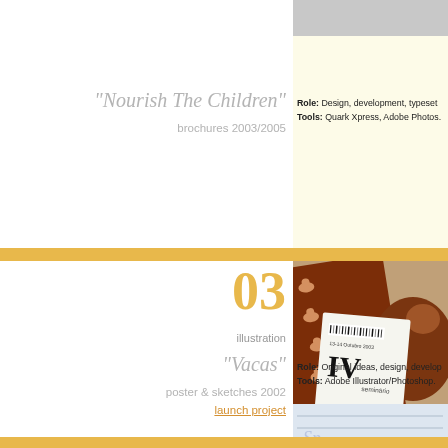[Figure (screenshot): Top gray bar from previous section]
"Nourish The Children"
brochures 2003/2005
Role: Design, development, typeset...
Tools: Quark Xpress, Adobe Photos...
03
illustration
[Figure (photo): Illustration portfolio image: Vacas cow-themed poster and sketches, showing brown patterned card with cow icons and a seminar IV booklet]
"Vacas"
poster & sketches 2002
launch project
Role: Original ideas, design, develop...
Tools: Adobe Illustrator/Photoshop...